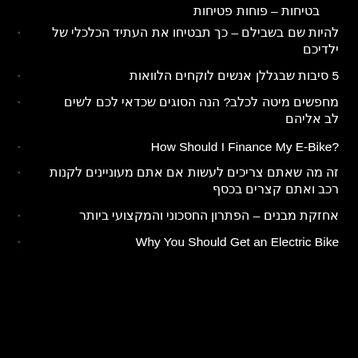להיות שם בשבילם – כך תבטיחו את העתיד הכלכלי של ילדיכם
5 סיבות שבגללן אנשים לוקחים הלוואות
מחפשים מיטה לכלב? הנה הסוגים שכדאי לכם לשים לב אליהם
How Should I Finance My E-Bike?
זה מה שאתם צריכים לעשות אם אתם מעוניינים לקנות רכב ואתם קצרים בכסף
אחזקת מבנים – הפתרון החסכוני והמקצועי ביותר
Why You Should Get an Electric Bike